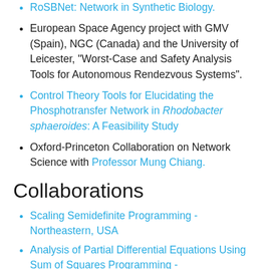RoSBNet: Network in Synthetic Biology.
European Space Agency project with GMV (Spain), NGC (Canada) and the University of Leicester, "Worst-Case and Safety Analysis Tools for Autonomous Rendezvous Systems".
Control Theory Tools for Elucidating the Phosphotransfer Network in Rhodobacter sphaeroides: A Feasibility Study
Oxford-Princeton Collaboration on Network Science with Professor Mung Chiang.
Collaborations
Scaling Semidefinite Programming - Northeastern, USA
Analysis of Partial Differential Equations Using Sum of Squares Programming - CentraleSupelec, France
A Control Engineering Approach for Modelling High-